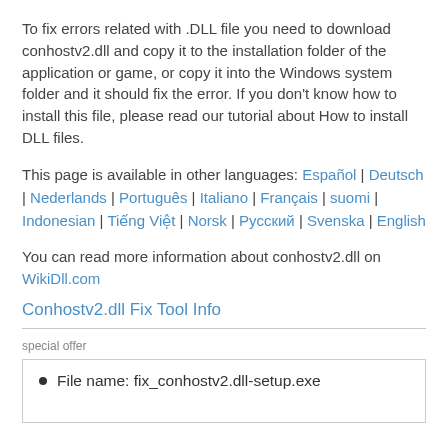To fix errors related with .DLL file you need to download conhostv2.dll and copy it to the installation folder of the application or game, or copy it into the Windows system folder and it should fix the error. If you don't know how to install this file, please read our tutorial about How to install DLL files.
This page is available in other languages: Español | Deutsch | Nederlands | Português | Italiano | Français | suomi | Indonesian | Tiếng Việt | Norsk | Русский | Svenska | English
You can read more information about conhostv2.dll on WikiDll.com
Conhostv2.dll Fix Tool Info
special offer
File name: fix_conhostv2.dll-setup.exe